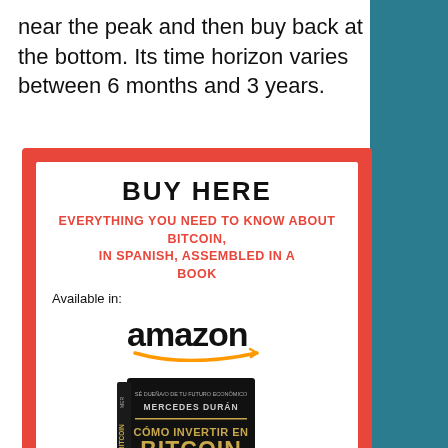near the peak and then buy back at the bottom. Its time horizon varies between 6 months and 3 years.
[Figure (infographic): Red-bordered advertisement box with white inner background. Contains 'BUY HERE' heading in bold black uppercase, red bold uppercase subtitle 'EVERYTHING YOU NEED TO KNOW ABOUT BITCOIN, IN SPANISH, ASSEMBLED IN A BOOK', 'Available in:' text, Amazon logo in black with orange swoosh arrow, and a book cover for 'Cómo Invertir en Bitcoin y Crear una Mente Millonaria' by Mercedes Durán shown at the bottom.]